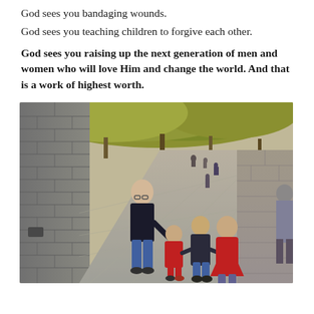God sees you bandaging wounds.
God sees you teaching children to forgive each other.
God sees you raising up the next generation of men and women who will love Him and change the world. And that is a work of highest worth.
[Figure (photo): A family with children walking along the Great Wall of China. An adult in black holds hands with small children in red coats walking along the wide stone pathway of the wall, with another adult visible on the right side and other visitors in the distance.]